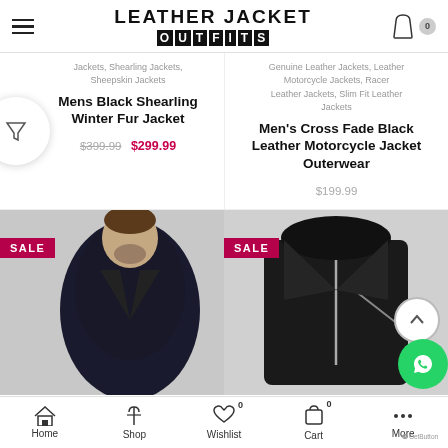LEATHER JACKET OUTFITS
Jackets, Shearling Jackets, Sheepskin Jackets
Mens Black Shearling Winter Fur Jacket
$399.99  $299.99
Genuine Leather Jackets, Leather Motorcycle Jackets, Racer Leather Jackets, Slim Fit Leather Jackets
Men's Cross Fade Black Leather Motorcycle Jacket Outerwear
$199.99
[Figure (photo): Man wearing black leather motorcycle jacket with SALE badge]
[Figure (photo): Black leather motorcycle jacket with hood and SALE badge]
Home  Shop  Wishlist 0  Cart 0  More